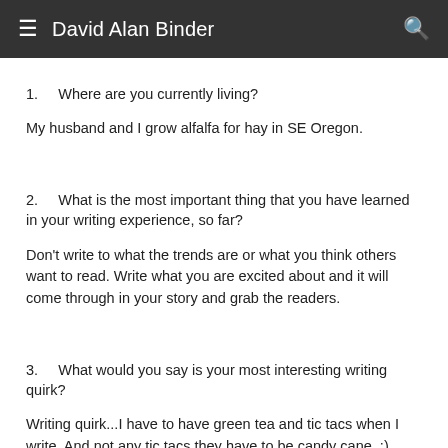David Alan Binder
1.    Where are you currently living?
My husband and I grow alfalfa for hay in SE Oregon.
2.    What is the most important thing that you have learned in your writing experience, so far?
Don't write to what the trends are or what you think others want to read. Write what you are excited about and it will come through in your story and grab the readers.
3.    What would you say is your most interesting writing quirk?
Writing quirk...I have to have green tea and tic tacs when I write. And not any tic tacs they have to be candy cane. :)